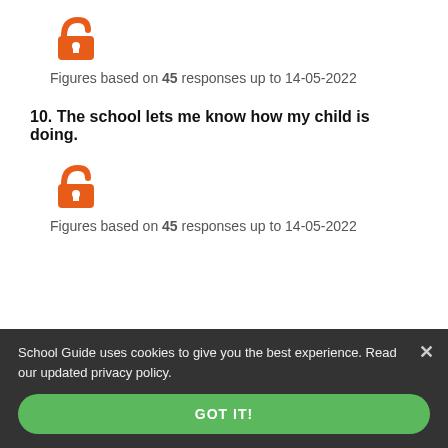[Figure (illustration): Orange unlocked padlock icon]
Figures based on 45 responses up to 14-05-2022
10. The school lets me know how my child is doing.
[Figure (illustration): Orange unlocked padlock icon]
Figures based on 45 responses up to 14-05-2022
School Guide uses cookies to give you the best experience. Read our updated privacy policy.
GOT IT!